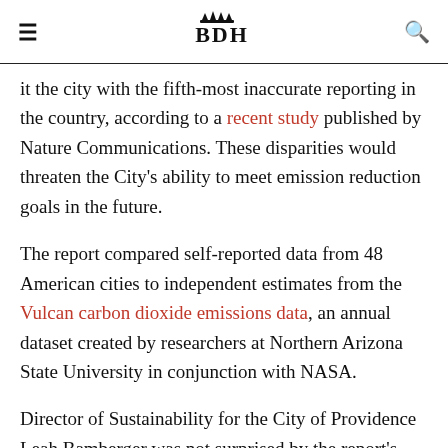≡  BDH  🔍
it the city with the fifth-most inaccurate reporting in the country, according to a recent study published by Nature Communications. These disparities would threaten the City's ability to meet emission reduction goals in the future.
The report compared self-reported data from 48 American cities to independent estimates from the Vulcan carbon dioxide emissions data, an annual dataset created by researchers at Northern Arizona State University in conjunction with NASA.
Director of Sustainability for the City of Providence Leah Bamberger was not surprised by the report's findings, …